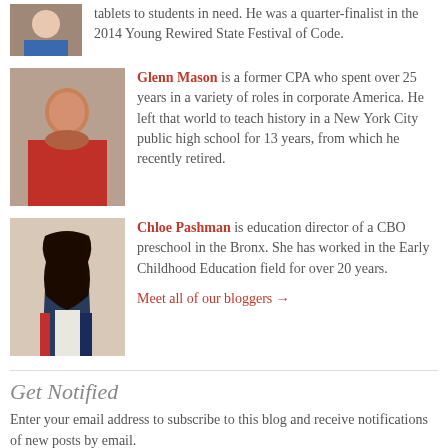tablets to students in need. He was a quarter-finalist in the 2014 Young Rewired State Festival of Code.
[Figure (photo): Photo of Glenn Mason, a man in a red shirt]
Glenn Mason is a former CPA who spent over 25 years in a variety of roles in corporate America. He left that world to teach history in a New York City public high school for 13 years, from which he recently retired.
[Figure (photo): Photo of Chloe Pashman, a woman with long dark hair]
Chloe Pashman is education director of a CBO preschool in the Bronx. She has worked in the Early Childhood Education field for over 20 years.
Meet all of our bloggers →
Get Notified
Enter your email address to subscribe to this blog and receive notifications of new posts by email.